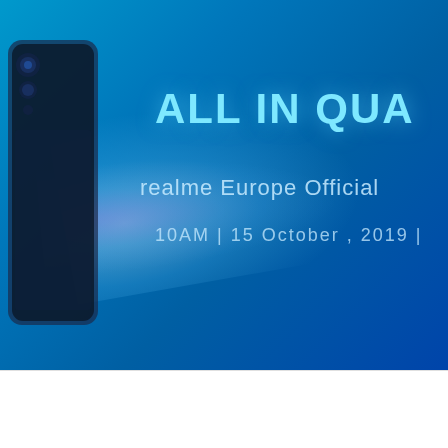[Figure (photo): Promotional banner for Realme X2 Pro launch event showing a smartphone silhouette on blue gradient background with text 'ALL IN QUA', 'realme Europe Official', '10AM | 15 October, 2019 |' in light blue/white text, with light streaks emanating from the phone.]
Realme X2 Pro confirmed to arrive on October 15 in Europe